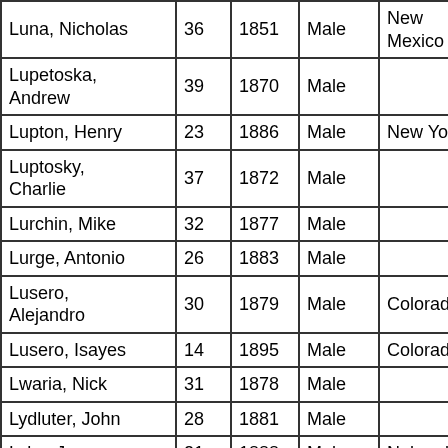| Name | Age | Year | Sex | State | Race |
| --- | --- | --- | --- | --- | --- |
| Luna, Nicholas | 36 | 1851 | Male | New Mexico | White |
| Lupetoska, Andrew | 39 | 1870 | Male |  | White |
| Lupton, Henry | 23 | 1886 | Male | New York | White |
| Luptosky, Charlie | 37 | 1872 | Male |  | White |
| Lurchin, Mike | 32 | 1877 | Male |  | White |
| Lurge, Antonio | 26 | 1883 | Male |  | White |
| Lusero, Alejandro | 30 | 1879 | Male | Colorado | White |
| Lusero, Isayes | 14 | 1895 | Male | Colorado | White |
| Lwaria, Nick | 31 | 1878 | Male |  | White |
| Lydluter, John | 28 | 1881 | Male |  | White |
| Lyke, James | 21 | 1888 | Male | Nebraska | White |
| Lynch, William | 25 | 1884 | Male | Colorado | White |